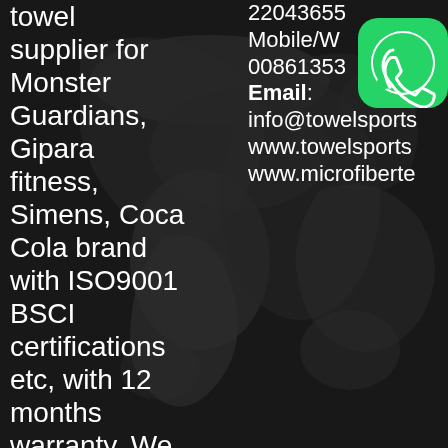towel supplier for Monster Guardians, Gipara fitness, Simens, Coca Cola brand with ISO9001 BSCI certifications etc, with 12 months warranty. We provide high quality products and VIP service 24 hours on
22043655 Mobile/WhatsApp: 008613535...02 Email: info@towelsports www.towelsports www.microfiberto
[Figure (logo): WhatsApp green logo icon in top right corner]